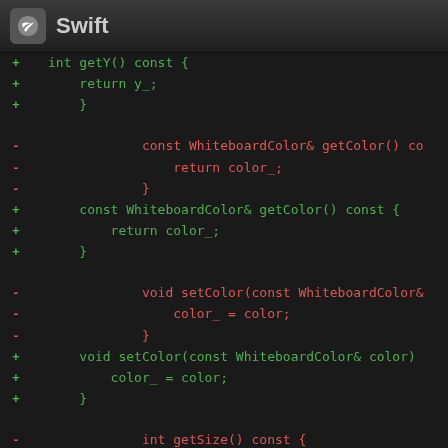[Figure (screenshot): Swift IDE/code review tool header with Swift bird logo and title 'Swift']
+ int getY() const {
+     return y_;
+ }
- const WhiteboardColor& getColor() co
-     return color_;
- }
+ const WhiteboardColor& getColor() const {
+     return color_;
+ }
- void setColor(const WhiteboardColor&
-         color_ = color;
- }
+ void setColor(const WhiteboardColor& color)
+     color_ = color;
+ }
- int getSize() const {
-     return size_;